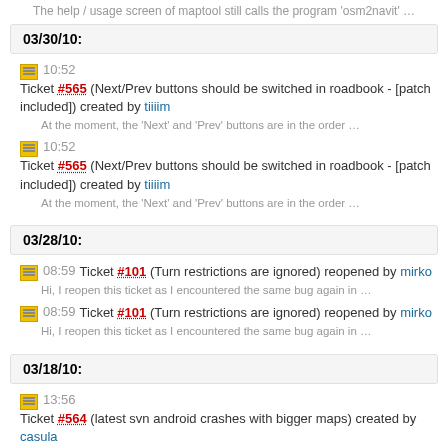The help / usage screen of maptool still calls the program 'osm2navit' …
03/30/10:
10:52 Ticket #565 (Next/Prev buttons should be switched in roadbook - [patch included]) created by tiiiim
At the moment, the 'Next' and 'Prev' buttons are in the order …
10:52 Ticket #565 (Next/Prev buttons should be switched in roadbook - [patch included]) created by tiiiim
At the moment, the 'Next' and 'Prev' buttons are in the order …
03/28/10:
08:59 Ticket #101 (Turn restrictions are ignored) reopened by mirko
Hi, I reopen this ticket as I encountered the same bug again in …
08:59 Ticket #101 (Turn restrictions are ignored) reopened by mirko
Hi, I reopen this ticket as I encountered the same bug again in …
03/18/10:
13:56 Ticket #564 (latest svn android crashes with bigger maps) created by casula
testet on motorola milestone 2.0.1 testet with two maps: small (~50mb) …